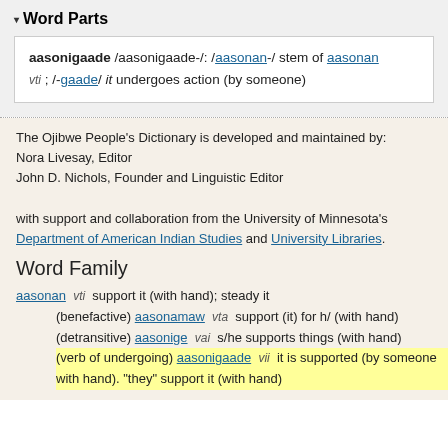▾ Word Parts
aasonigaade /aasonigaade-/: /aasonan-/ stem of aasonan vti ; /-gaade/ it undergoes action (by someone)
The Ojibwe People's Dictionary is developed and maintained by: Nora Livesay, Editor
John D. Nichols, Founder and Linguistic Editor

with support and collaboration from the University of Minnesota's Department of American Indian Studies and University Libraries.
Word Family
aasonan vti support it (with hand); steady it
(benefactive) aasonamaw vta support (it) for h/ (with hand)
(detransitive) aasonige vai s/he supports things (with hand)
(verb of undergoing) aasonigaade vii it is supported (by someone with hand). "they" support it (with hand)